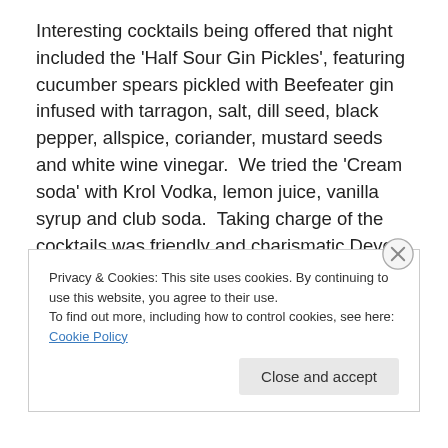Interesting cocktails being offered that night included the 'Half Sour Gin Pickles', featuring cucumber spears pickled with Beefeater gin infused with tarragon, salt, dill seed, black pepper, allspice, coriander, mustard seeds and white wine vinegar.  We tried the 'Cream soda' with Krol Vodka, lemon juice, vanilla syrup and club soda.  Taking charge of the cocktails was friendly and charismatic Devon Espinoza, mixologist at The Tasting Kitchen who will be kicking off the Hatchi Mixology Series this Thursday May 5th...
Privacy & Cookies: This site uses cookies. By continuing to use this website, you agree to their use.
To find out more, including how to control cookies, see here: Cookie Policy
Close and accept